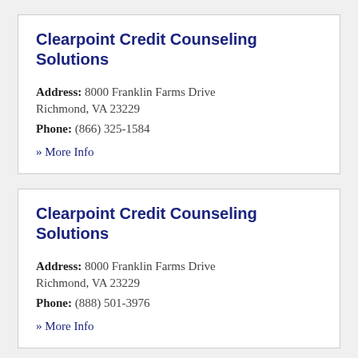Clearpoint Credit Counseling Solutions
Address: 8000 Franklin Farms Drive Richmond, VA 23229
Phone: (866) 325-1584
» More Info
Clearpoint Credit Counseling Solutions
Address: 8000 Franklin Farms Drive Richmond, VA 23229
Phone: (888) 501-3976
» More Info